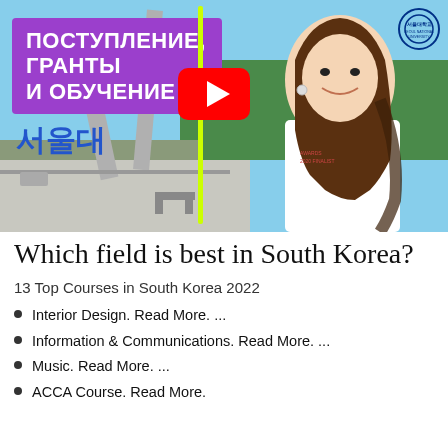[Figure (screenshot): YouTube video thumbnail showing a woman in a white t-shirt standing in front of Seoul National University gate. A purple banner with Russian text 'ПОСТУПЛЕНИЕ, ГРАНТЫ И ОБУЧЕНИЕ' and Korean text '서울대' is overlaid on the left. A red YouTube play button is centered. The Seoul National University logo appears in the top right corner.]
Which field is best in South Korea?
13 Top Courses in South Korea 2022
Interior Design. Read More. ...
Information & Communications. Read More. ...
Music. Read More. ...
ACCA Course. Read More.